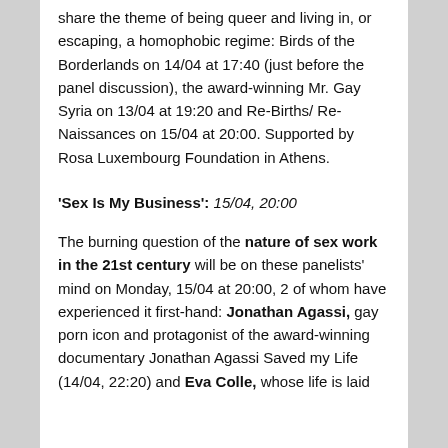share the theme of being queer and living in, or escaping, a homophobic regime: Birds of the Borderlands on 14/04 at 17:40 (just before the panel discussion), the award-winning Mr. Gay Syria on 13/04 at 19:20 and Re-Births/ Re-Naissances on 15/04 at 20:00. Supported by Rosa Luxembourg Foundation in Athens.
'Sex Is My Business': 15/04, 20:00
The burning question of the nature of sex work in the 21st century will be on these panelists' mind on Monday, 15/04 at 20:00, 2 of whom have experienced it first-hand: Jonathan Agassi, gay porn icon and protagonist of the award-winning documentary Jonathan Agassi Saved my Life (14/04, 22:20) and Eva Colle, whose life is laid